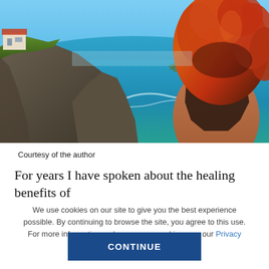[Figure (photo): A woman with long curly red/auburn hair seen from behind, overlooking dramatic coastal cliffs and turquoise ocean water on a sunny day. A small white building is visible on the cliff to the left.]
Courtesy of the author
For years I have spoken about the healing benefits of
We use cookies on our site to give you the best experience possible. By continuing to browse the site, you agree to this use. For more information on how we use cookies, see our Privacy Policy.
CONTINUE